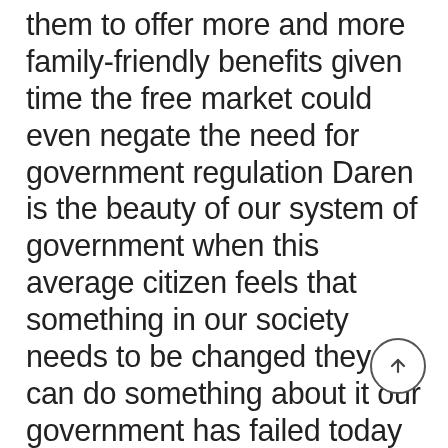them to offer more and more family-friendly benefits given time the free market could even negate the need for government regulation Daren is the beauty of our system of government when this average citizen feels that something in our society needs to be changed they can do something about it our government has failed today at take actions we must put pressure on our representatives in Washington the survey by the Rockefeller Foundation in time found that 62% of Republicans and even more Democrats felt that the businesses should be required to provide paid maternity leave a majority of those on either side of the political spectrum agree on this issue it is time for action on this issue it is time to beyond together and catch up with the rest of the world so I like that to catch up with the rest of the world harkens back to her first sentence there so hopefully this gives you an idea of what equality